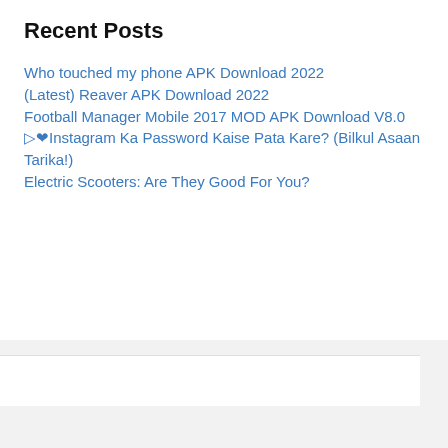Recent Posts
Who touched my phone APK Download 2022
(Latest) Reaver APK Download 2022
Football Manager Mobile 2017 MOD APK Download V8.0
▷❤Instagram Ka Password Kaise Pata Kare? (Bilkul Asaan Tarika!)
Electric Scooters: Are They Good For You?
About Us